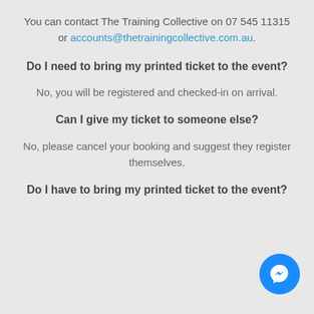You can contact The Training Collective on 07 545 11315 or accounts@thetrainingcollective.com.au.
Do I need to bring my printed ticket to the event?
No, you will be registered and checked-in on arrival.
Can I give my ticket to someone else?
No, please cancel your booking and suggest they register themselves.
Do I have to bring my printed ticket to the event?